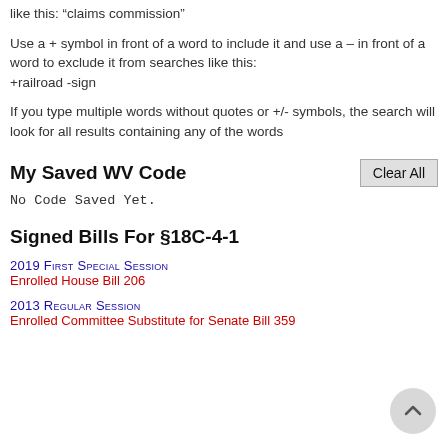like this: “claims commission”
Use a + symbol in front of a word to include it and use a – in front of a word to exclude it from searches like this:
+railroad -sign
If you type multiple words without quotes or +/- symbols, the search will look for all results containing any of the words
My Saved WV Code
No Code Saved Yet.
Signed Bills For §18C-4-1
2019 First Special Session
Enrolled House Bill 206
2013 Regular Session
Enrolled Committee Substitute for Senate Bill 359